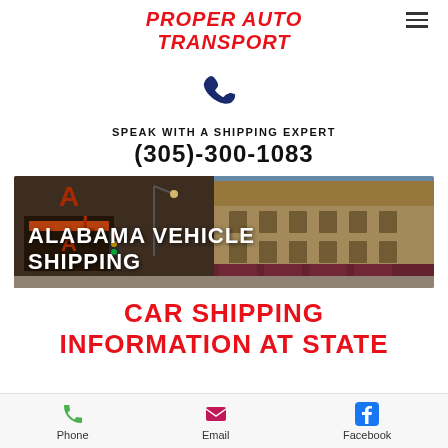[Figure (logo): Proper Auto Transport logo in red italic bold text]
[Figure (illustration): Dark navy phone handset icon]
SPEAK WITH A SHIPPING EXPERT
(305)-300-1083
[Figure (photo): Alabama street scene with historic buildings and theater marquee]
ALABAMA VEHICLE SHIPPING
CAR SHIPPING INFORMATION AT STATE
Phone   Email   Facebook